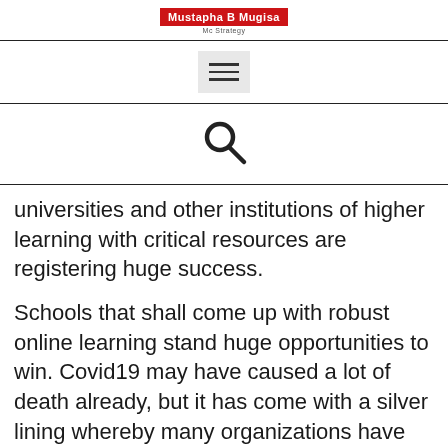Mustapha B Mugisa
[Figure (other): Hamburger menu icon (three horizontal bars) on grey background]
[Figure (other): Search magnifying glass icon]
universities and other institutions of higher learning with critical resources are registering huge success.
Schools that shall come up with robust online learning stand huge opportunities to win. Covid19 may have caused a lot of death already, but it has come with a silver lining whereby many organizations have registered leapfrogging when it comes to technology adoption and use. In the past, remote, and flexible working were things that appeared